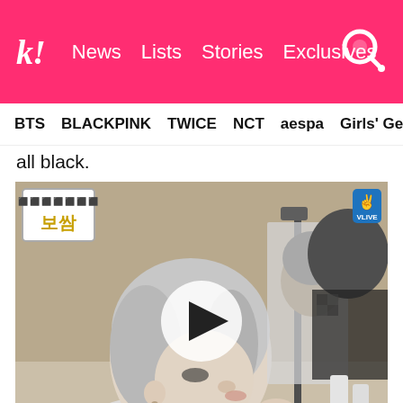k! News Lists Stories Exclusives
BTS BLACKPINK TWICE NCT aespa Girls' Generation
all black.
[Figure (screenshot): Video screenshot of BTS Jimin with silver/white hair looking into a mirror, from a V LIVE broadcast. A video play button overlay is visible in the center. Top-left shows a Korean label '보쌈' with dots above. Top-right shows a V LIVE badge.]
Only when Jimin tried a second time, using